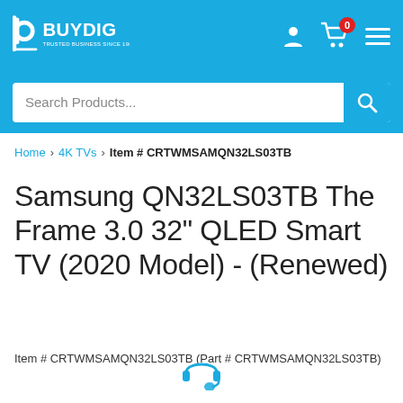BUYDIG - TRUSTED BUSINESS SINCE 1983.
Search Products...
Home › 4K TVs › Item # CRTWMSAMQN32LS03TB
Samsung QN32LS03TB The Frame 3.0 32" QLED Smart TV (2020 Model) - (Renewed)
Item # CRTWMSAMQN32LS03TB (Part # CRTWMSAMQN32LS03TB)